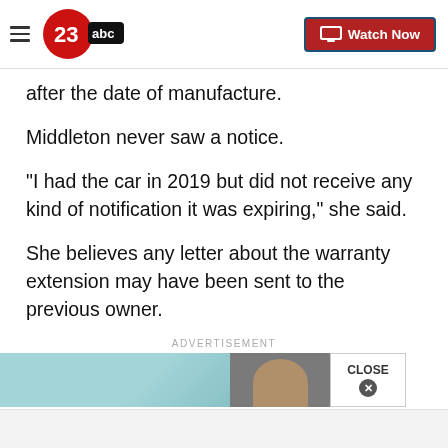23abc | Watch Now
after the date of manufacture.
Middleton never saw a notice.
"I had the car in 2019 but did not receive any kind of notification it was expiring," she said.
She believes any letter about the warranty extension may have been sent to the previous owner.
ADVERTISEMENT
[Figure (other): Advertisement banner with teal/green background and a person's face visible on the right side, with a CLOSE button overlay]